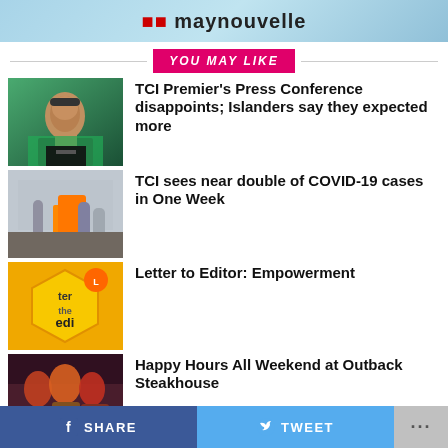maynouvelle (news website header)
YOU MAY LIKE
[Figure (photo): Woman speaking at a podium, wearing green jacket]
TCI Premier’s Press Conference disappoints; Islanders say they expected more
[Figure (photo): People standing outside a building, one wearing an orange shirt]
TCI sees near double of COVID-19 cases in One Week
[Figure (logo): Letter to the Editor logo with yellow hexagon design]
Letter to Editor: Empowerment
[Figure (photo): Drinks and cocktails at Outback Steakhouse]
Happy Hours All Weekend at Outback Steakhouse
SHARE   TWEET   ...